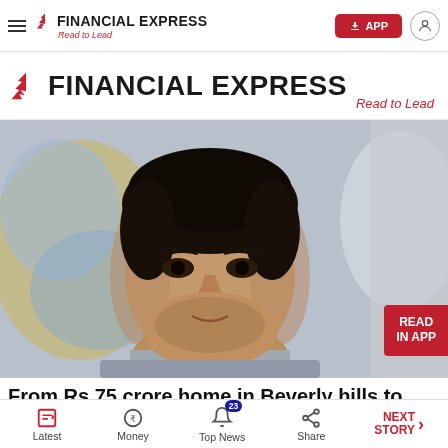FINANCIAL EXPRESS — Read to Lead (nav bar with APP button)
FINANCIAL EXPRESS — Read to Lead
[Figure (photo): Portrait photo of a man (Aamir Khan) with short dark hair, stubble beard, wearing a grey t-shirt, against a blurred colorful background]
From Rs 75 crore home in Beverly hills to Rolls
Latest | Money | Top News (23) | Share | NEXT STORY